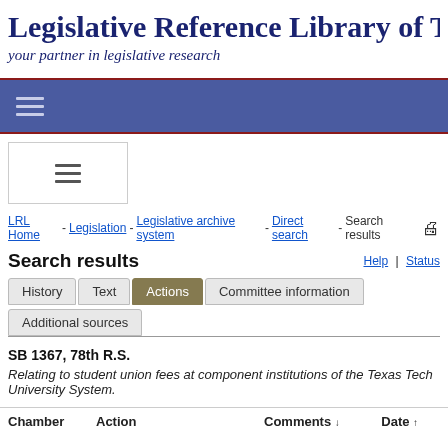Legislative Reference Library of Texas
your partner in legislative research
[Figure (screenshot): Blue navigation bar with hamburger menu icon (three horizontal lines) on dark blue/purple background with dark red border]
[Figure (screenshot): Mobile menu box with hamburger icon (three horizontal lines) on white background with border]
LRL Home - Legislation - Legislative archive system - Direct search - Search results
Search results
Help | Status
History  Text  Actions  Committee information  Additional sources
SB 1367, 78th R.S.
Relating to student union fees at component institutions of the Texas Tech University System.
| Chamber | Action | Comments | Date |
| --- | --- | --- | --- |